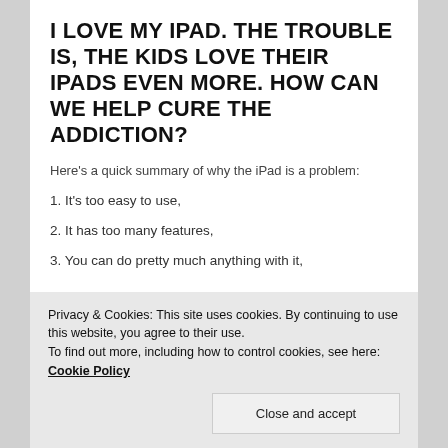I LOVE MY IPAD. THE TROUBLE IS, THE KIDS LOVE THEIR IPADS EVEN MORE. HOW CAN WE HELP CURE THE ADDICTION?
Here's a quick summary of why the iPad is a problem:
1. It's too easy to use,
2. It has too many features,
3. You can do pretty much anything with it,
Privacy & Cookies: This site uses cookies. By continuing to use this website, you agree to their use.
To find out more, including how to control cookies, see here: Cookie Policy